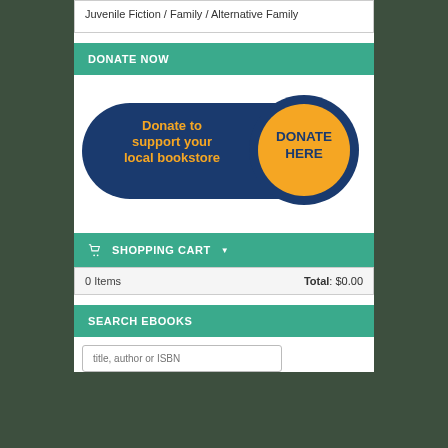Juvenile Fiction / Family / Alternative Family
DONATE NOW
[Figure (illustration): A donate button graphic with a dark blue pill-shaped background showing 'Donate to support your local bookstore' in yellow text, with a large orange circle button on the right reading 'DONATE HERE' in dark blue bold text.]
SHOPPING CART
| 0 Items | Total: $0.00 |
SEARCH EBOOKS
title, author or ISBN